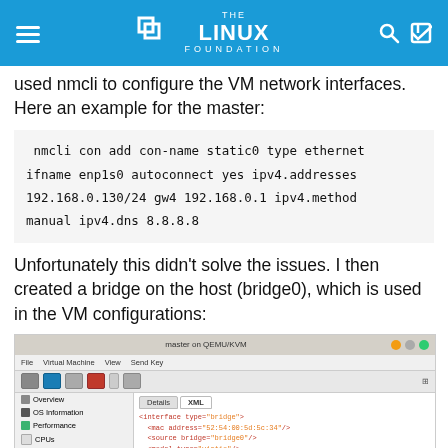THE LINUX FOUNDATION
used nmcli to configure the VM network interfaces. Here an example for the master:
nmcli con add con-name static0 type ethernet ifname enp1s0 autoconnect yes ipv4.addresses 192.168.0.130/24 gw4 192.168.0.1 ipv4.method manual ipv4.dns 8.8.8.8
Unfortunately this didn't solve the issues. I then created a bridge on the host (bridge0), which is used in the VM configurations:
[Figure (screenshot): Screenshot of QEMU/KVM virtual machine manager showing XML configuration for a network interface with type bridge, including mac address, source bridge, model type, and address elements.]